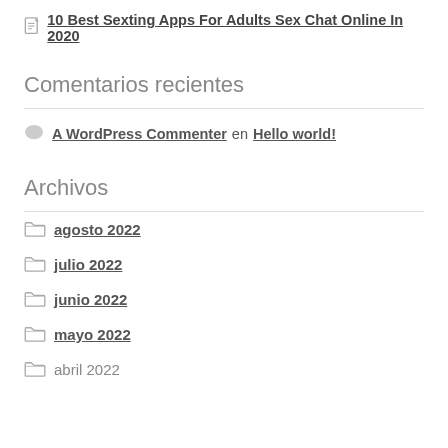10 Best Sexting Apps For Adults Sex Chat Online In 2020
Comentarios recientes
A WordPress Commenter en Hello world!
Archivos
agosto 2022
julio 2022
junio 2022
mayo 2022
abril 2022